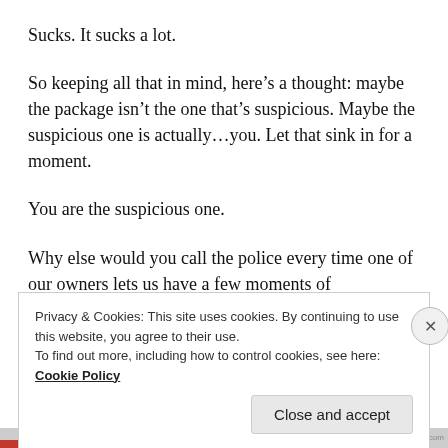Sucks. It sucks a lot.
So keeping all that in mind, here’s a thought: maybe the package isn’t the one that’s suspicious. Maybe the suspicious one is actually…you. Let that sink in for a moment.
You are the suspicious one.
Why else would you call the police every time one of our owners lets us have a few moments of
Privacy & Cookies: This site uses cookies. By continuing to use this website, you agree to their use.
To find out more, including how to control cookies, see here:
Cookie Policy
Close and accept